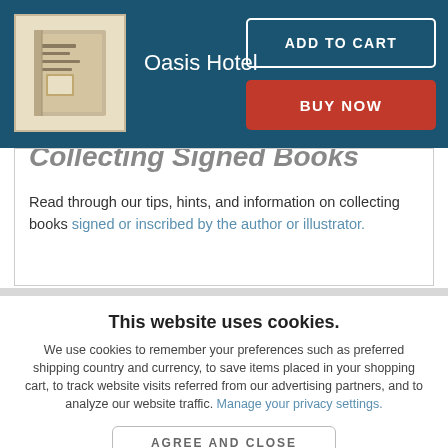Oasis Hotel
Collecting Signed Books
Read through our tips, hints, and information on collecting books signed or inscribed by the author or illustrator.
This website uses cookies.
We use cookies to remember your preferences such as preferred shipping country and currency, to save items placed in your shopping cart, to track website visits referred from our advertising partners, and to analyze our website traffic. Manage your privacy settings.
AGREE AND CLOSE